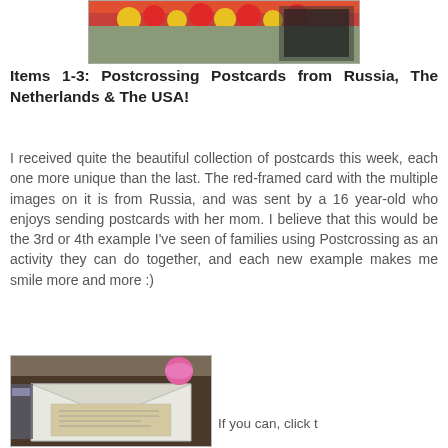[Figure (photo): Partial top photo of postcards with tulips and red/yellow flowers visible]
Items 1-3: Postcrossing Postcards from Russia, The Netherlands & The USA!
I received quite the beautiful collection of postcards this week, each one more unique than the last. The red-framed card with the multiple images on it is from Russia, and was sent by a 16 year-old who enjoys sending postcards with her mom. I believe that this would be the 3rd or 4th example I've seen of families using Postcrossing as an activity they can do together, and each new example makes me smile more and more :)
[Figure (photo): Photo of an envelope opened showing a handwritten postcard/letter inside, sitting on a dark table with a pink lid container visible in background]
If you can, click t